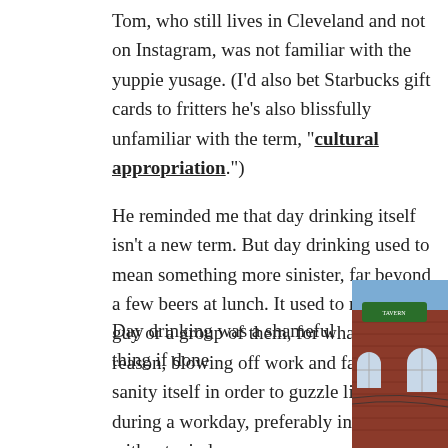Tom, who still lives in Cleveland and not on Instagram, was not familiar with the yuppie yusage. (I'd also bet Starbucks gift cards to fritters he's also blissfully unfamiliar with the term, "cultural appropriation.")
He reminded me that day drinking itself isn't a new term. But day drinking used to mean something more sinister, far beyond a few beers at lunch. It used to mean a guy or a group of them, for whatever reason, blowing off work and family and sanity itself in order to guzzle liquor during a workday, preferably in a tavern without windows.
[Figure (photo): Exterior photo of a brick tavern building with arched windows and a green sign, shot from below at an angle against a blue sky.]
Day drinking was a shameful thing if done